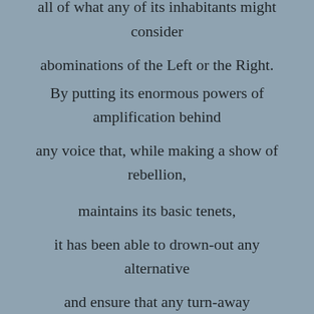A cultural norm that holds within itself all of what any of its inhabitants might consider abominations of the Left or the Right. By putting its enormous powers of amplification behind any voice that, while making a show of rebellion, maintains its basic tenets, it has been able to drown-out any alternative and ensure that any turn-away decays into a re-turn to its own values.